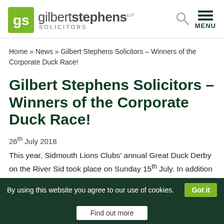[Figure (logo): Gilbert Stephens Solicitors logo with green GS icon and firm name]
Home » News » Gilbert Stephens Solicitors – Winners of the Corporate Duck Race!
Gilbert Stephens Solicitors – Winners of the Corporate Duck Race!
26th July 2018
This year, Sidmouth Lions Clubs' annual Great Duck Derby on the River Sid took place on Sunday 15th July. In addition to the main yellow ducks race, the event includes a Corporate Duck
By using this website you agree to our use of cookies.  Got it  Find out more